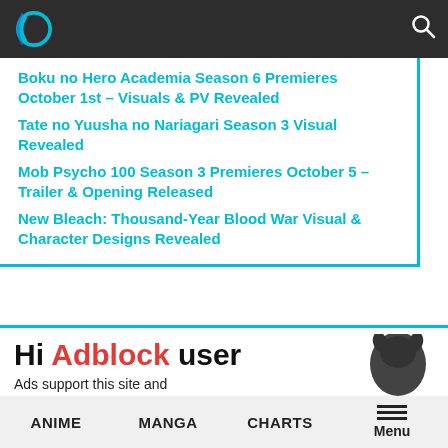Navigation header with logo and search icon
Boku no Hero Academia Season 6 Premieres October 1st – Visuals & PV Revealed
Tate no Yuusha no Nariagari Season 3 Visual Revealed
Mob Psycho 100 Season 3 Premieres October 5 – Trailer & Opening Released
New Bleach: Thousand-Year Blood War Visual & Character Designs Revealed
Hi Adblock user
Ads support this site and resources into protecting Nezuko
ANIME   MANGA   CHARTS   Menu